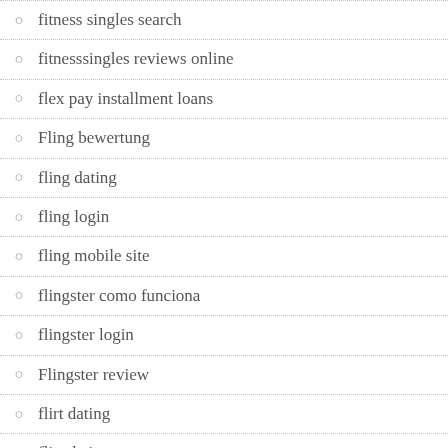fitness singles search
fitnesssingles reviews online
flex pay installment loans
Fling bewertung
fling dating
fling login
fling mobile site
flingster como funciona
flingster login
Flingster review
flirt dating
flirt dating